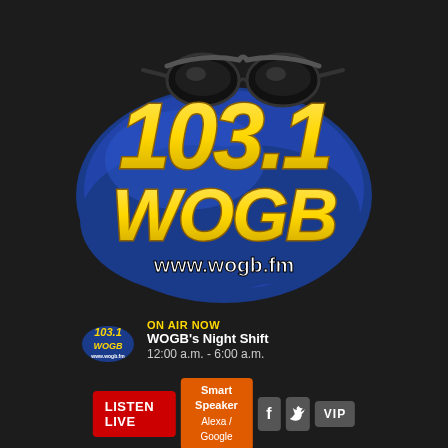[Figure (logo): 103.1 WOGB radio station logo with yellow bold italic text on blue blob background, sunglasses on top, and www.wogb.fm website text]
ON AIR NOW
WOGB's Night Shift
12:00 a.m. - 6:00 a.m.
LISTEN LIVE   Smart Speaker Alexa / Google   f   (twitter)   VIP